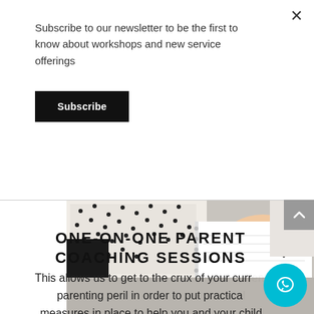Subscribe to our newsletter to be the first to know about workshops and new service offerings
Subscribe
[Figure (photo): Close-up of a person wearing a white polka-dot blouse writing in a notebook on a grey desk]
ONE-ON-ONE PARENT COACHING SESSIONS
This allows us to get to the crux of your current parenting peril in order to put practical measures in place to help you and your child